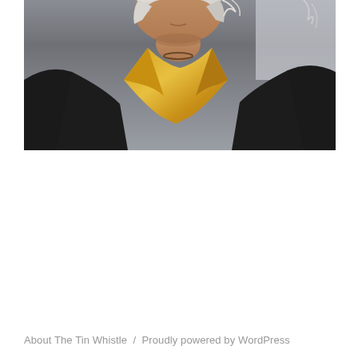[Figure (photo): Close-up photo of a person wearing a black jacket and a gold/yellow open-collar shirt with a necklace, photographed from mid-chest up, face partially visible at top]
stevenhager420
View Full Profile →
About The Tin Whistle / Proudly powered by WordPress